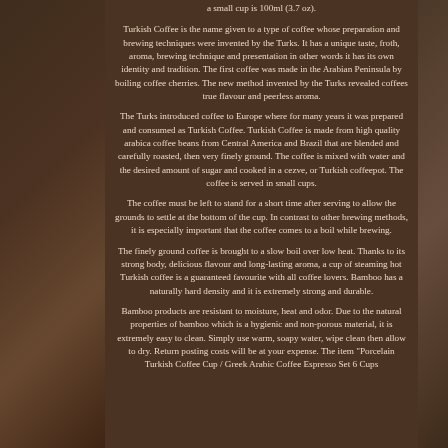Turkish Coffee is the name given to a type of coffee whose preparation and brewing techniques were invented by the Turks. It has a unique taste, froth, aroma, brewing technique and presentation in other words it has its own identity and tradition. The first coffee was made in the Arabian Peninsula by boiling coffee cherries. The new method invented by the Turks revealed coffees true flavour and peerless aroma.
The Turks introduced coffee to Europe where for many years it was prepared and consumed as Turkish Coffee. Turkish Coffee is made from high quality arabica coffee beans from Central America and Brazil that are blended and carefully roasted, then very finely ground. The coffee is mixed with water and the desired amount of sugar and cooked in a cezve, or Turkish coffeepot. The coffee is served in small cups.
The coffee must be left to stand for a short time after serving to allow the grounds to settle at the bottom of the cup. In contrast to other brewing methods, it is especially important that the coffee comes to a boil while brewing.
The finely ground coffee is brought to a slow boil over low heat. Thanks to its strong body, delicious flavour and long-lasting aroma, a cup of steaming hot Turkish coffee is a guaranteed favourite with all coffee lovers. Bamboo has a naturally hard density and it is extremely strong and durable.
Bamboo products are resistant to moisture, heat and odor. Due to the natural properties of bamboo which is a hygienic and non-porous material, it is extremely easy to clean. Simply use warm, soapy water, wipe clean then allow to dry. Return posting costs will be at your expense. The item "Porcelain Turkish Coffee Cup / Greek Arabic Coffee Espresso Set 6 Cups